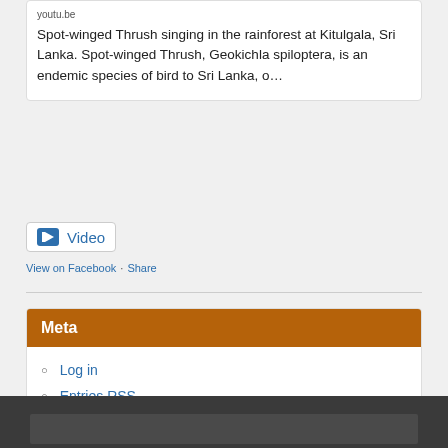youtu.be
Spot-winged Thrush singing in the rainforest at Kitulgala, Sri Lanka. Spot-winged Thrush, Geokichla spiloptera, is an endemic species of bird to Sri Lanka, o…
[Figure (other): Video badge icon with camera icon and 'Video' label]
View on Facebook · Share
Meta
Log in
Entries RSS
Comments RSS
WordPress.org